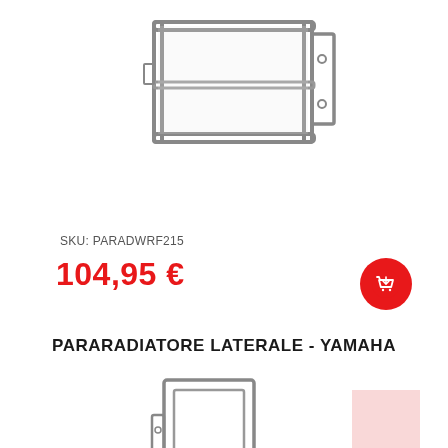[Figure (photo): Metal radiator guard bracket product photo on white background, top portion showing rectangular steel frame structure]
SKU: PARADWRF215
104,95 €
[Figure (illustration): Red circular add-to-cart button with shopping cart icon]
PARARADIATORE LATERALE - YAMAHA
[Figure (photo): Metal radiator guard product photo showing lower portion of rectangular steel frame bracket]